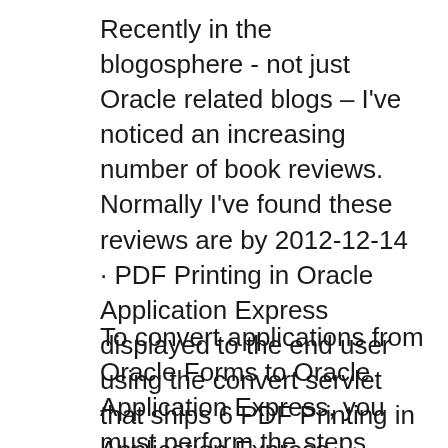Recently in the blogosphere - not just Oracle related blogs – I've noticed an increasing number of book reviews. Normally I've found these reviews are by 2012-12-14 · PDF Printing in Oracle Application Express displayed to the end user using the convert servlet that ships 6 PDF Printing in Application Express
To convert applications from Oracle Forms to Oracle Application Express, you must perform the steps described in this section. The following graphic outlines the Convert your Oracle Forms applications to Oracle APEX successfully Convert your Oracle Forms Applications to Oracle APEX Master the different